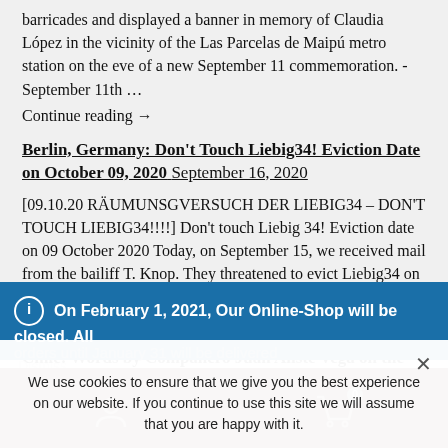barricades and displayed a banner in memory of Claudia López in the vicinity of the Las Parcelas de Maipú metro station on the eve of a new September 11 commemoration. -September 11th … Continue reading →
Berlin, Germany: Don't Touch Liebig34! Eviction Date on October 09, 2020 September 16, 2020
[09.10.20 RÄUMUNSGVERSUCH DER LIEBIG34 – DON'T TOUCH LIEBIG34!!!!] Don't touch Liebig 34! Eviction date on 09 October 2020 Today, on September 15, we received mail from the bailiff T. Knop. They threatened to evict Liebig34 on Friday, October 9 at … Continue reading →
Chile: Words by Compañero Juan Aliste Vega on the Departure
On February 1, 2021, Our Online-Shop will be closed. All orders until January 31 will be delivered Dismiss
We use cookies to ensure that we give you the best experience on our website. If you continue to use this site we will assume that you are happy with it.